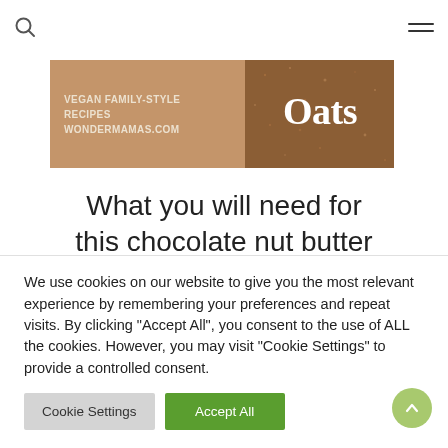Search | Menu navigation
[Figure (illustration): Banner image showing text 'VEGAN FAMILY-STYLE RECIPES WONDERMAMAS.COM' on a tan/brown left panel and large white 'Oats' text on a darker brown right panel with a speckled texture]
What you will need for this chocolate nut butter overnight oats recipe…
We use cookies on our website to give you the most relevant experience by remembering your preferences and repeat visits. By clicking "Accept All", you consent to the use of ALL the cookies. However, you may visit "Cookie Settings" to provide a controlled consent.